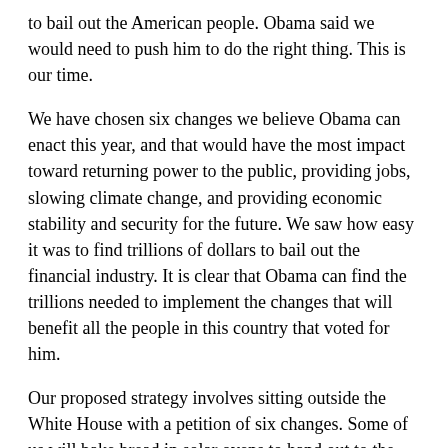to bail out the American people. Obama said we would need to push him to do the right thing. This is our time.
We have chosen six changes we believe Obama can enact this year, and that would have the most impact toward returning power to the public, providing jobs, slowing climate change, and providing economic stability and security for the future. We saw how easy it was to find trillions of dollars to bail out the financial industry. It is clear that Obama can find the trillions needed to implement the changes that will benefit all the people in this country that voted for him.
Our proposed strategy involves sitting outside the White House with a petition of six changes. Some of us will bake bread in solar ovens to hand out to the hungry. We intend to have hundreds, and then thousands of people sitting outside the White House at any one time. We will give the signed petitions to Obama. It is legal to sit in front of the White House and it is legal to have a petition and bake bread in a solar oven. The solar oven is a symbol of just how easy to is to replace an oil-based society with a solar-powered future. Nuclear power and "clean" coal are NOT the alternative energy America voted for. As thousands sit outside the White